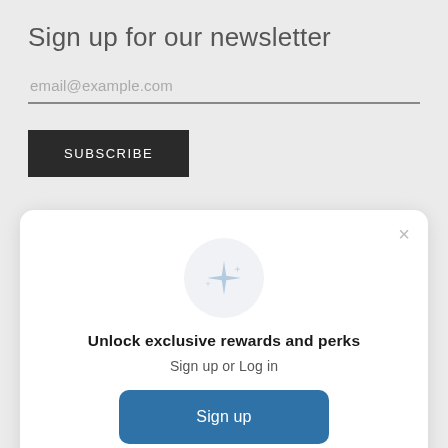Sign up for our newsletter
email@example.com
SUBSCRIBE
[Figure (screenshot): A modal dialog with a sparkle/star icon in a light circle, title 'Unlock exclusive rewards and perks', subtitle 'Sign up or Log in', a blue 'Sign up' button, and a 'Already have an account? Sign in' link. An X close button is in the top right.]
Unlock exclusive rewards and perks
Sign up or Log in
Sign up
Already have an account? Sign in